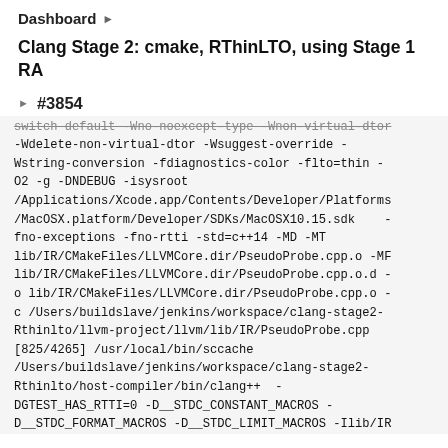Dashboard ▶
Clang Stage 2: cmake, RThinLTO, using Stage 1 RA
#3854
switch default -Wno-noexcept-type -Wnon-virtual-dtor -Wdelete-non-virtual-dtor -Wsuggest-override -Wstring-conversion -fdiagnostics-color -flto=thin -O2 -g -DNDEBUG -isysroot /Applications/Xcode.app/Contents/Developer/Platforms/MacOSX.platform/Developer/SDKs/MacOSX10.15.sdk    -fno-exceptions -fno-rtti -std=c++14 -MD -MT lib/IR/CMakeFiles/LLVMCore.dir/PseudoProbe.cpp.o -MF lib/IR/CMakeFiles/LLVMCore.dir/PseudoProbe.cpp.o.d -o lib/IR/CMakeFiles/LLVMCore.dir/PseudoProbe.cpp.o -c /Users/buildslave/jenkins/workspace/clang-stage2-Rthinlto/llvm-project/llvm/lib/IR/PseudoProbe.cpp
[825/4265] /usr/local/bin/sccache /Users/buildslave/jenkins/workspace/clang-stage2-Rthinlto/host-compiler/bin/clang++  -DGTEST_HAS_RTTI=0 -D__STDC_CONSTANT_MACROS -D__STDC_FORMAT_MACROS -D__STDC_LIMIT_MACROS -Ilib/IR